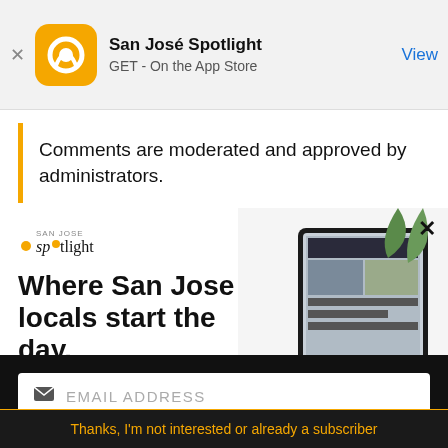[Figure (screenshot): App store banner for San José Spotlight showing app icon, name, GET - On the App Store, and View button]
Comments are moderated and approved by administrators.
Comments (17)
[Figure (advertisement): San José Spotlight advertisement with logo, headline 'Where San Jose locals start the day.' and sanjosespotlight.com URL, with tablet/device image on right]
EMAIL ADDRESS
SUBSCRIBE
Thanks, I'm not interested or already a subscriber